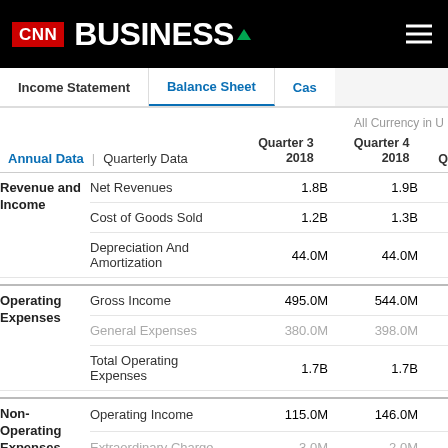CNN BUSINESS
Income Statement | Balance Sheet | Cash
All Currency in U
|  |  | Quarter 3 2018 | Quarter 4 2018 | Q |
| --- | --- | --- | --- | --- |
| Revenue and Income | Net Revenues | 1.8B | 1.9B |  |
|  | Cost of Goods Sold | 1.2B | 1.3B |  |
|  | Depreciation And Amortization | 44.0M | 44.0M |  |
| Operating Expenses | Gross Income | 495.0M | 544.0M |  |
|  | General Expenses | 380.0M | 398.0M |  |
|  | Total Operating Expenses | 1.7B | 1.7B |  |
| Non-Operating Expenses | Operating Income | 115.0M | 146.0M |  |
|  | Extraordinary Charge | -3.0M | -2.0M |  |